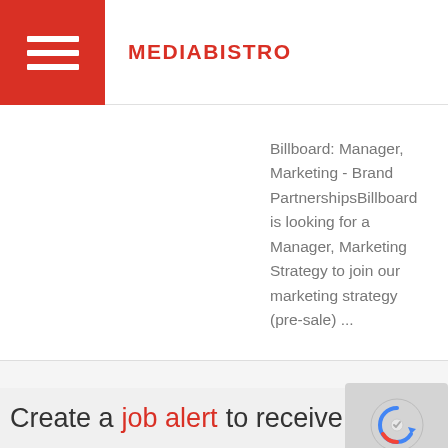MEDIABISTRO
Billboard: Manager, Marketing - Brand PartnershipsBillboard is looking for a Manager, Marketing Strategy to join our marketing strategy (pre-sale) ...
Displaying jobs 1 - 30
Create a job alert to receive the